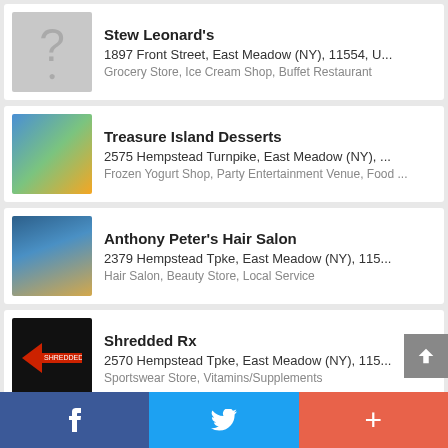Stew Leonard's — 1897 Front Street, East Meadow (NY), 11554, U... — Grocery Store, Ice Cream Shop, Buffet Restaurant
Treasure Island Desserts — 2575 Hempstead Turnpike, East Meadow (NY), ... — Frozen Yogurt Shop, Party Entertainment Venue, Food ...
Anthony Peter's Hair Salon — 2379 Hempstead Tpke, East Meadow (NY), 115... — Hair Salon, Beauty Store, Local Service
Shredded Rx — 2570 Hempstead Tpke, East Meadow (NY), 115... — Sportswear Store, Vitamins/Supplements
Havana's Cigar Club